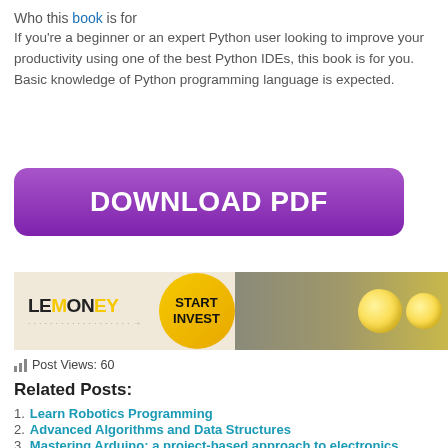Who this book is for
If you're a beginner or an expert Python user looking to improve your productivity using one of the best Python IDEs, this book is for you. Basic knowledge of Python programming language is expected.
[Figure (other): Purple rounded rectangle button with white bold text DOWNLOAD PDF]
[Figure (other): LEMONEY advertisement banner with lemons and START INVEST button]
Post Views: 60
Related Posts:
Learn Robotics Programming
Advanced Algorithms and Data Structures
Mastering Arduino: a project-based approach to electronics, circuits, and programming